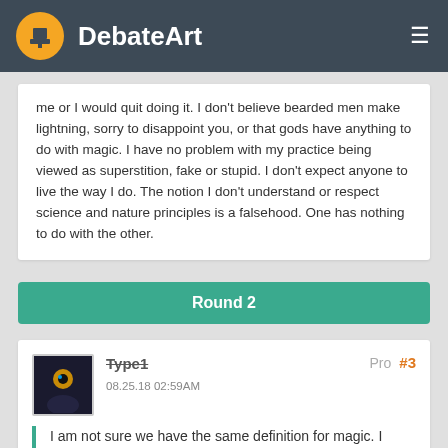DebateArt
me or I would quit doing it. I don't believe bearded men make lightning, sorry to disappoint you, or that gods have anything to do with magic. I have no problem with my practice being viewed as superstition, fake or stupid. I don't expect anyone to live the way I do. The notion I don't understand or respect science and nature principles is a falsehood. One has nothing to do with the other.
Round 2
Type1
08.25.18 02:59AM
Pro #3
I am not sure we have the same definition for magic. I consider it the working with spirits or energy to produce a result.